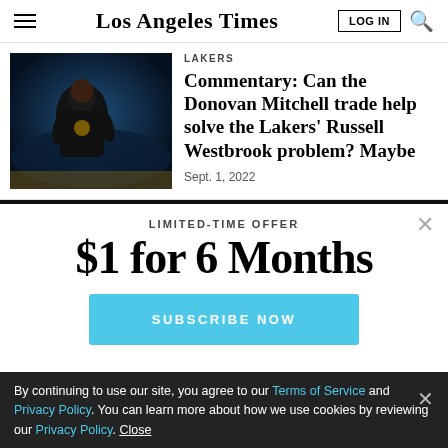Los Angeles Times
LAKERS
Commentary: Can the Donovan Mitchell trade help solve the Lakers' Russell Westbrook problem? Maybe
Sept. 1, 2022
LIMITED-TIME OFFER
$1 for 6 Months
SUBSCRIBE NOW
By continuing to use our site, you agree to our Terms of Service and Privacy Policy. You can learn more about how we use cookies by reviewing our Privacy Policy. Close